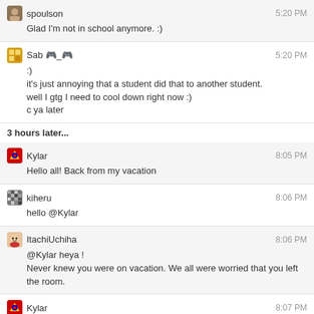spoulson 5:20 PM
Glad I'm not in school anymore. :)
Sab 🎮_🎮 5:20 PM
:)
it's just annoying that a student did that to another student.
well I gtg I need to cool down right now :)
c ya later
3 hours later...
Kylar 8:05 PM
Hello all! Back from my vacation
kiheru 8:06 PM
hello @Kylar
ItachiUchiha 8:06 PM
@Kylar heya !
Never knew you were on vacation. We all were worried that you left the room.
Kylar 8:07 PM
2 weeks in Hawaii'i
ItachiUchiha 8:12 PM
Hawaii..
[Figure (illustration): Partial GIF preview image showing blue sky background with yellow cartoon shape at bottom]